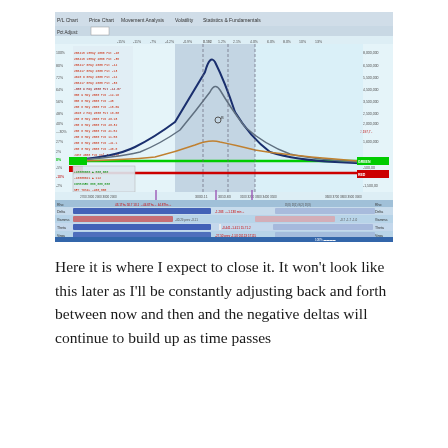[Figure (screenshot): A trading platform screenshot showing a P&L chart / movement analysis with multiple overlapping curved lines (dark blue, gray, green, orange, red horizontal), a shaded blue/gray region in the center, percentage axis on the left, numerical axis on the right, a data table panel at the bottom with rows labeled Rho, Delta, Gamma, Theta, Vega in blue and red coloring, and tab headers: P/L Chart, Price Chart, Movement Analysis, Volatility, Statistics & Fundamentals.]
Here it is where I expect to close it. It won't look like this later as I'll be constantly adjusting back and forth between now and then and the negative deltas will continue to build up as time passes